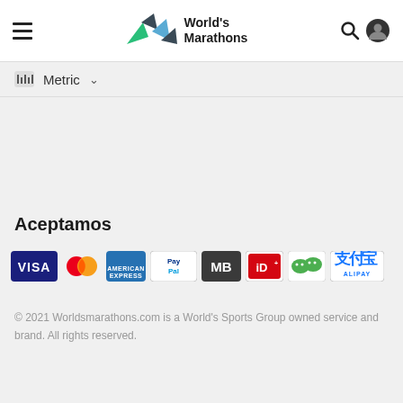World's Marathons
Metric
Aceptamos
[Figure (logo): Payment method icons: VISA, Mastercard, American Express, PayPal, MB, iD, WeChat Pay, Alipay]
© 2021 Worldsmarathons.com is a World's Sports Group owned service and brand. All rights reserved.